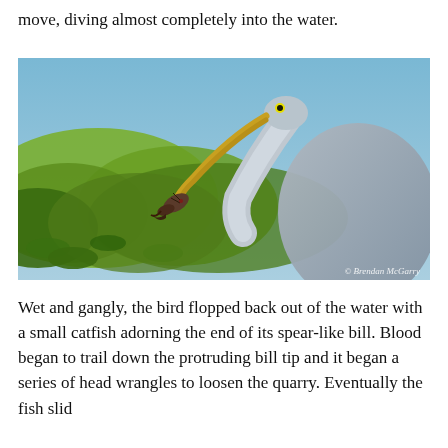move, diving almost completely into the water.
[Figure (photo): Close-up photograph of a Great Blue Heron catching a small catfish in its long spear-like bill, with blurred green foliage and blue sky in the background. Watermark reads: © Brendan McGarry]
Wet and gangly, the bird flopped back out of the water with a small catfish adorning the end of its spear-like bill. Blood began to trail down the protruding bill tip and it began a series of head wrangles to loosen the quarry. Eventually the fish slid